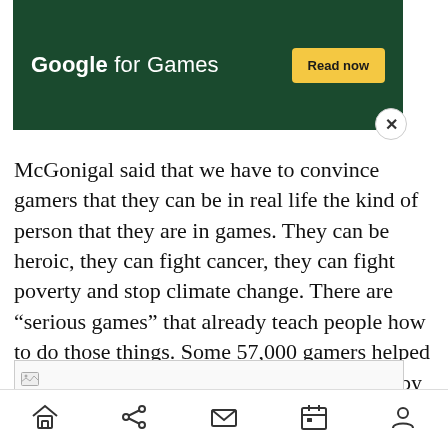[Figure (screenshot): Google for Games advertisement banner with dark green background, white text 'Google for Games', yellow 'Read now' button, and a close (X) button]
McGonigal said that we have to convince gamers that they can be in real life the kind of person that they are in games. They can be heroic, they can fight cancer, they can fight poverty and stop climate change. There are “serious games” that already teach people how to do those things. Some 57,000 gamers helped co-author a research paper on biochemistry by playing a game.
[Figure (photo): Broken image placeholder thumbnail]
Home | Share | Mail | Calendar | Profile (navigation bar icons)